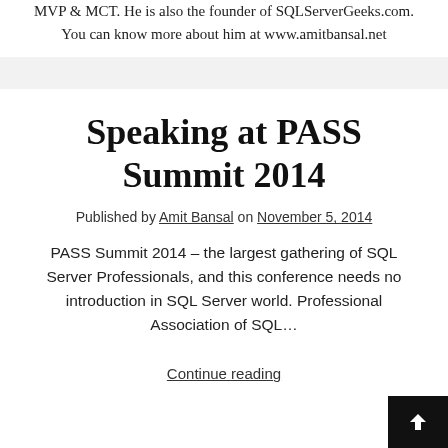MVP & MCT. He is also the founder of SQLServerGeeks.com. You can know more about him at www.amitbansal.net
Speaking at PASS Summit 2014
Published by Amit Bansal on November 5, 2014
PASS Summit 2014 – the largest gathering of SQL Server Professionals, and this conference needs no introduction in SQL Server world. Professional Association of SQL…
Continue reading